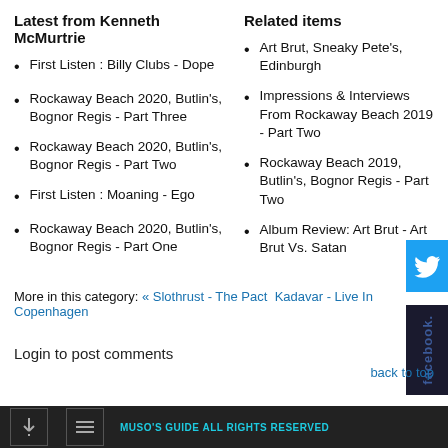Latest from Kenneth McMurtrie
First Listen : Billy Clubs - Dope
Rockaway Beach 2020, Butlin's, Bognor Regis - Part Three
Rockaway Beach 2020, Butlin's, Bognor Regis - Part Two
First Listen : Moaning - Ego
Rockaway Beach 2020, Butlin's, Bognor Regis - Part One
Related items
Art Brut, Sneaky Pete's, Edinburgh
Impressions & Interviews From Rockaway Beach 2019 - Part Two
Rockaway Beach 2019, Butlin's, Bognor Regis - Part Two
Album Review: Art Brut - Art Brut Vs. Satan
More in this category: « Slothrust - The Pact Kadavar - Live In Copenhagen
Login to post comments
back to top
MUSO'S GUIDE ALL RIGHTS RESERVED